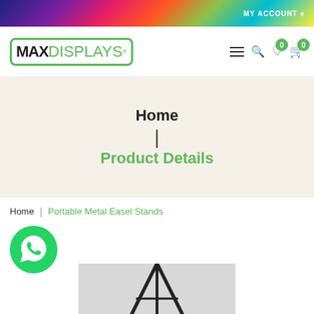MY ACCOUNT
[Figure (logo): MAX DISPLAYS logo with green border and green DISPLAYS text]
Home
|
Product Details
Home | Portable Metal Easel Stands
[Figure (photo): Portable Metal Easel Stand product photo]